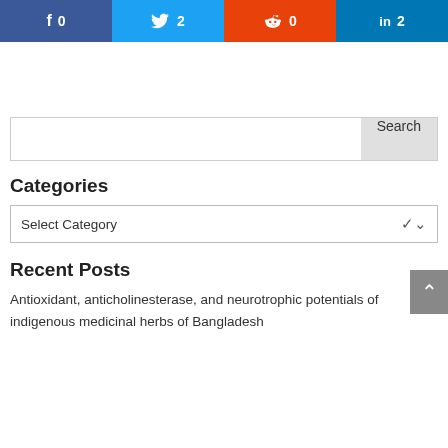[Figure (infographic): Social share buttons row: Facebook (f, 0), Twitter (bird icon, 2), Reddit (alien icon, 0), LinkedIn (in, 2)]
[Figure (other): Search input box with Search button on the right]
Categories
[Figure (other): Select Category dropdown]
Recent Posts
Antioxidant, anticholinesterase, and neurotrophic potentials of indigenous medicinal herbs of Bangladesh